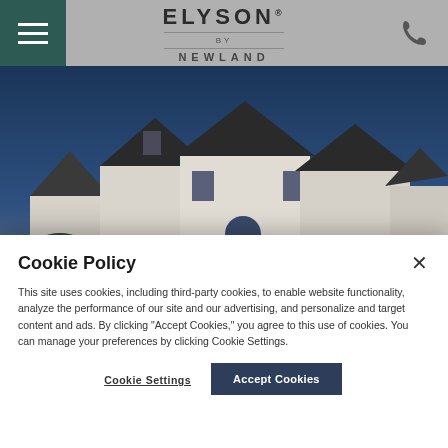[Figure (logo): Elyson by Newland logo centered in navigation bar]
[Figure (photo): Hero photo of suburban houses with white siding and dark roof peaks against a blue sky]
Cookie Policy
This site uses cookies, including third-party cookies, to enable website functionality, analyze the performance of our site and our advertising, and personalize and target content and ads. By clicking "Accept Cookies," you agree to this use of cookies. You can manage your preferences by clicking Cookie Settings.
Cookie Settings
Accept Cookies